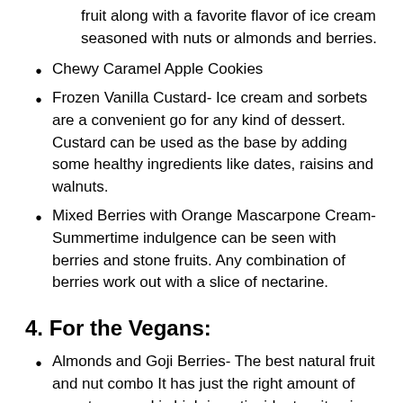fruit along with a favorite flavor of ice cream seasoned with nuts or almonds and berries.
Chewy Caramel Apple Cookies
Frozen Vanilla Custard- Ice cream and sorbets are a convenient go for any kind of dessert. Custard can be used as the base by adding some healthy ingredients like dates, raisins and walnuts.
Mixed Berries with Orange Mascarpone Cream- Summertime indulgence can be seen with berries and stone fruits. Any combination of berries work out with a slice of nectarine.
4. For the Vegans:
Almonds and Goji Berries- The best natural fruit and nut combo It has just the right amount of sweetness and is high in antioxidants, vitamins